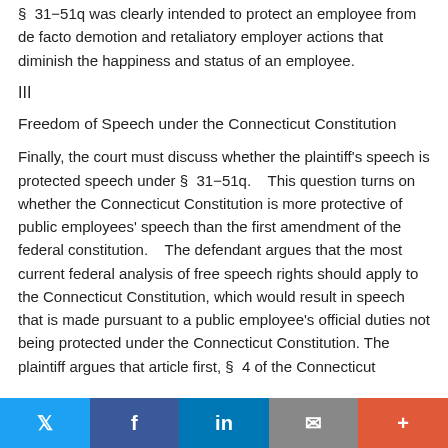§ 31−51q was clearly intended to protect an employee from de facto demotion and retaliatory employer actions that diminish the happiness and status of an employee.
III
Freedom of Speech under the Connecticut Constitution
Finally, the court must discuss whether the plaintiff's speech is protected speech under § 31−51q.   This question turns on whether the Connecticut Constitution is more protective of public employees' speech than the first amendment of the federal constitution.   The defendant argues that the most current federal analysis of free speech rights should apply to the Connecticut Constitution, which would result in speech that is made pursuant to a public employee's official duties not being protected under the Connecticut Constitution. The plaintiff argues that article first, § 4 of the Connecticut